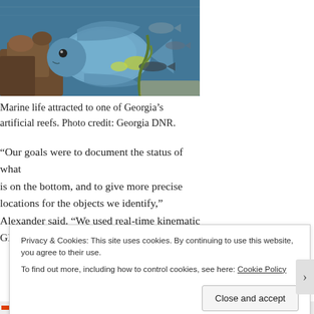[Figure (photo): A blue angelfish swimming near coral reef with other fish in the background, photographed underwater at Georgia's artificial reef.]
Marine life attracted to one of Georgia's artificial reefs. Photo credit: Georgia DNR.
“Our goals were to document the status of what is on the bottom, and to give more precise locations for the objects we identify,” Alexander said. “We used real-time kinematic GPS, so we know within a few centimeters
Privacy & Cookies: This site uses cookies. By continuing to use this website, you agree to their use.
To find out more, including how to control cookies, see here: Cookie Policy
Close and accept